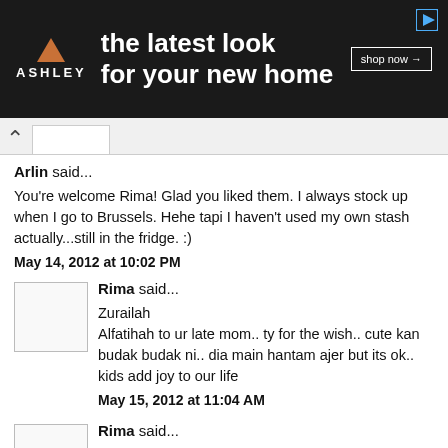[Figure (screenshot): Ashley Furniture advertisement banner: dark background with logo (triangle icon and ASHLEY text), tagline 'the latest look for your new home', 'shop now' button, and play icon in top right corner.]
Arlin said...
You're welcome Rima! Glad you liked them. I always stock up when I go to Brussels. Hehe tapi I haven't used my own stash actually...still in the fridge. :)
May 14, 2012 at 10:02 PM
Rima said...
Zurailah
Alfatihah to ur late mom.. ty for the wish.. cute kan budak budak ni.. dia main hantam ajer but its ok.. kids add joy to our life
May 15, 2012 at 11:04 AM
Rima said...
Sally
u know what.. she is! she even choose her own baju..